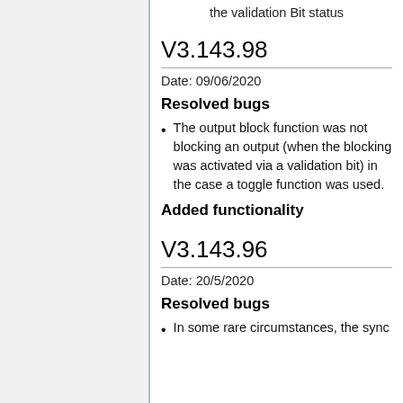the validation Bit status
V3.143.98
Date: 09/06/2020
Resolved bugs
The output block function was not blocking an output (when the blocking was activated via a validation bit) in the case a toggle function was used.
Added functionality
V3.143.96
Date: 20/5/2020
Resolved bugs
In some rare circumstances, the sync